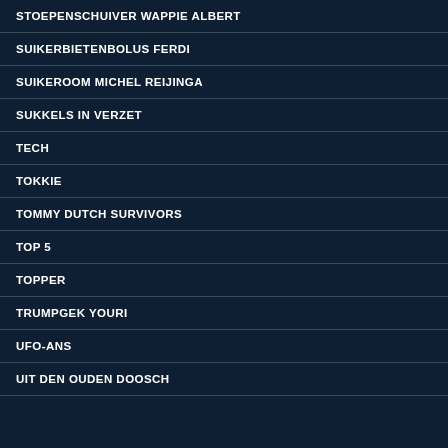STOEPENSCHUIVER WAPPIE ALBERT
SUIKERBIETENBOLUS FERDI
SUIKEROOM MICHEL REIJINGA
SUKKELS IN VERZET
TECH
TOKKIE
TOMMY DUTCH SURVIVORS
TOP 5
TOPPER
TRUMPGEK YOURI
UFO-ANS
UIT DEN OUDEN DOOSCH